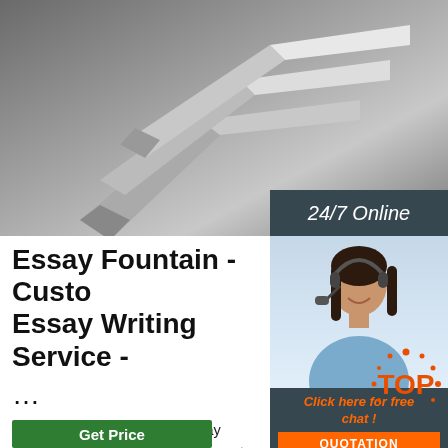[Figure (photo): Close-up photo of metallic steel angle brackets stacked together, silver/grey tones]
24/7 Online
[Figure (photo): Customer service agent woman with headset, smiling, wearing blue shirt]
Click here for free chat !
QUOTATION
Essay Fountain - Custo Essay Writing Service -
...
Essay Fountain: A custom essay writing that sells original assignment help servic students. We provide essay writing servi custom assignment help services, and research materials for references purposes only. Students should ensure that they reference the materials obtained from our website appropriately.
[Figure (logo): TOP badge logo with orange text and dots]
Get Price